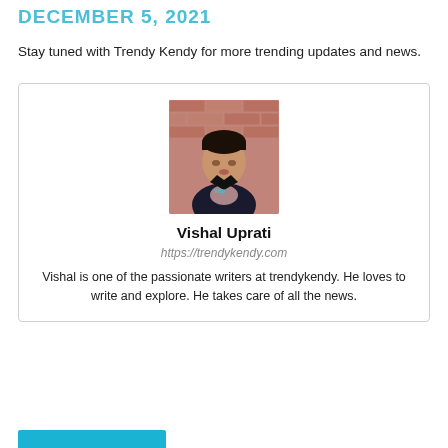DECEMBER 5, 2021
Stay tuned with Trendy Kendy for more trending updates and news.
[Figure (photo): Author card with photo of Vishal Uprati, a young man in a black jacket in front of a brick wall. Card includes name, website URL, and bio.]
Vishal Uprati
https://trendykendy.com
Vishal is one of the passionate writers at trendykendy. He loves to write and explore. He takes care of all the news.